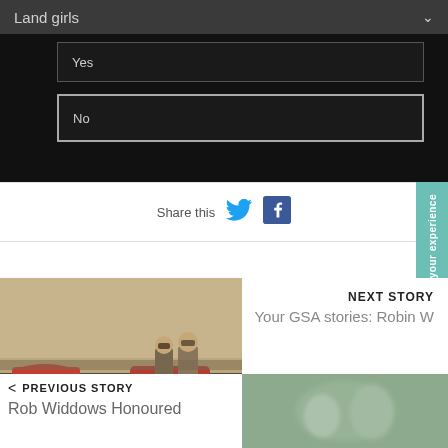Land girls
Yes
No
Share this
[Figure (screenshot): Twitter bird icon in blue]
[Figure (screenshot): Facebook square icon in blue]
[Figure (photo): Vintage black and white photo of two men standing near a Formula racing car (number 119) and red cars in background at a race track]
NEXT STORY
Your GSA stories: Robin W
PREVIOUS STORY
Rob Widdows Honoured
[Figure (photo): Blurred photo of people, right bottom corner]